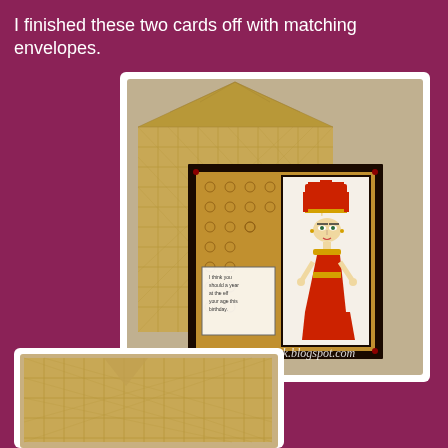I finished these two cards off with matching envelopes.
[Figure (photo): Handmade greeting card with Egyptian Cleopatra character figure in red outfit and headdress, placed in front of a decorative gold patterned envelope. Card features ornate black and gold damask pattern border. Watermark reads: Lady of Leisure Ink.blogspot.com]
[Figure (photo): Close-up partial view of a gold patterned decorative envelope with diamond/grid embossed pattern, shown from the bottom of the page, partially cut off.]